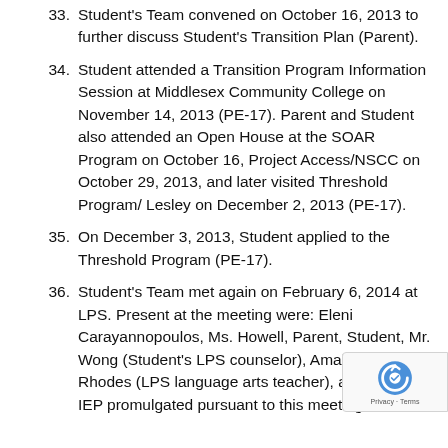33. Student's Team convened on October 16, 2013 to further discuss Student's Transition Plan (Parent).
34. Student attended a Transition Program Information Session at Middlesex Community College on November 14, 2013 (PE-17). Parent and Student also attended an Open House at the SOAR Program on October 16, Project Access/NSCC on October 29, 2013, and later visited Threshold Program/ Lesley on December 2, 2013 (PE-17).
35. On December 3, 2013, Student applied to the Threshold Program (PE-17).
36. Student's Team met again on February 6, 2014 at LPS. Present at the meeting were: Eleni Carayannopoulos, Ms. Howell, Parent, Student, Mr. Wong (Student's LPS counselor), Amalia Atwa Rhodes (LPS language arts teacher), and Lois The IEP promulgated pursuant to this meeting